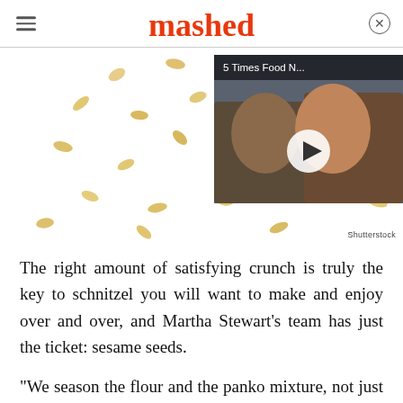mashed
[Figure (photo): Scattered sesame seeds on white background with a video thumbnail overlay showing two people (man and woman) and a play button. Video title reads '5 Times Food N...'. Shutterstock watermark at bottom right.]
The right amount of satisfying crunch is truly the key to schnitzel you will want to make and enjoy over and over, and Martha Stewart's team has just the ticket: sesame seeds.
"We season the flour and the panko mixture, not just the meat, and add sesame seeds for a nuttier